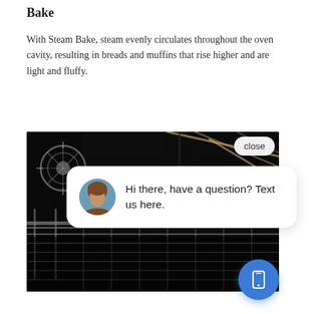Bake
With Steam Bake, steam evenly circulates throughout the oven cavity, resulting in breads and muffins that rise higher and are light and fluffy.
[Figure (screenshot): Photo of oven interior showing racks and a bread loaf, with an overlaid chat widget. The chat widget shows a close button, a female avatar, and the text 'Hi there, have a question? Text us here.' A blue circular chat button appears in the lower right.]